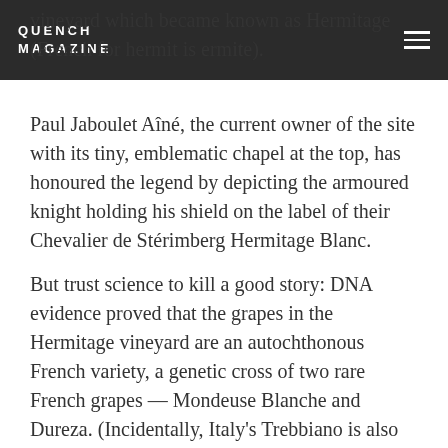QUENCH MAGAZINE
vineyard which became known as Hermitage (French for hermit is ermite).
Paul Jaboulet Aîné, the current owner of the site with its tiny, emblematic chapel at the top, has honoured the legend by depicting the armoured knight holding his shield on the label of their Chevalier de Stérimberg Hermitage Blanc.
But trust science to kill a good story: DNA evidence proved that the grapes in the Hermitage vineyard are an autochthonous French variety, a genetic cross of two rare French grapes — Mondeuse Blanche and Dureza. (Incidentally, Italy's Trebbiano is also known as White Hermitage as well as Shiraz